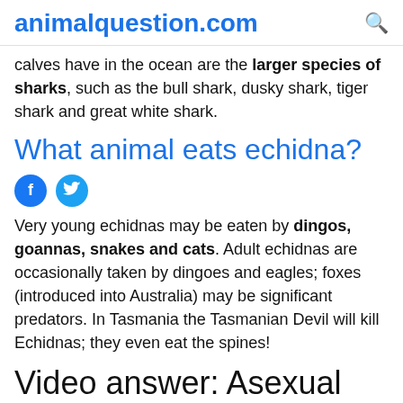animalquestion.com
calves have in the ocean are the larger species of sharks, such as the bull shark, dusky shark, tiger shark and great white shark.
What animal eats echidna?
[Figure (other): Facebook and Twitter social share icons]
Very young echidnas may be eaten by dingos, goannas, snakes and cats. Adult echidnas are occasionally taken by dingoes and eagles; foxes (introduced into Australia) may be significant predators. In Tasmania the Tasmanian Devil will kill Echidnas; they even eat the spines!
Video answer: Asexual